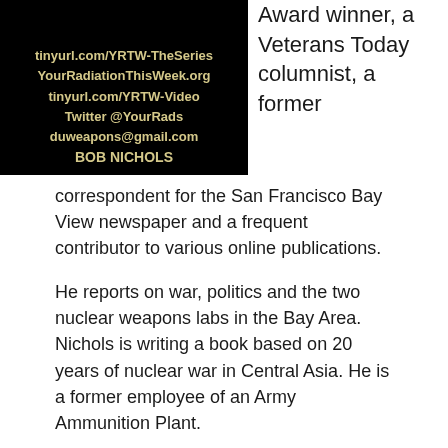[Figure (photo): Black background image with golden/tan bold text listing: tinyurl.com/YRTW-TheSeries, YourRadiationThisWeek.org, tinyurl.com/YRTW-Video, Twitter @YourRads, duweapons@gmail.com, BOB NICHOLS]
Award winner, a Veterans Today columnist, a former
correspondent for the San Francisco Bay View newspaper and a frequent contributor to various online publications.
He reports on war, politics and the two nuclear weapons labs in the Bay Area. Nichols is writing a book based on 20 years of nuclear war in Central Asia. He is a former employee of an Army Ammunition Plant.
Follow Bob on YouTube channel, Nichols on Nuclear, Twitter, and visit his web